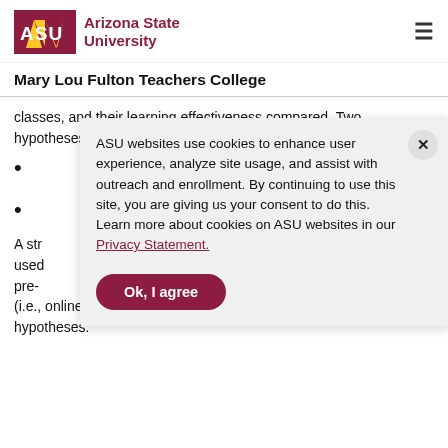ASU | Arizona State University
Mary Lou Fulton Teachers College
classes, and their learning effectiveness compared. Two hypotheses will be tested:
ASU websites use cookies to enhance user experience, analyze site usage, and assist with outreach and enrollment. By continuing to use this site, you are giving us your consent to do this. Learn more about cookies on ASU websites in our Privacy Statement.
A str used pre- (i.e., online dialogues and worksheets) will test the hypotheses.